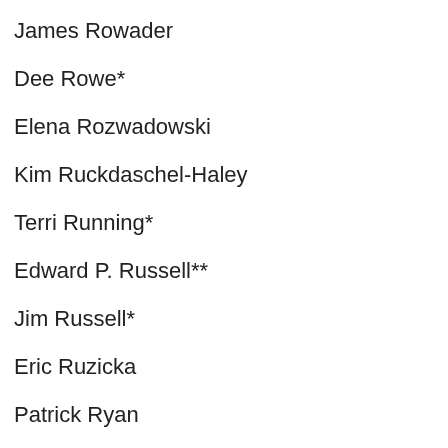James Rowader
Dee Rowe*
Elena Rozwadowski
Kim Ruckdaschel-Haley
Terri Running*
Edward P. Russell**
Jim Russell*
Eric Ruzicka
Patrick Ryan